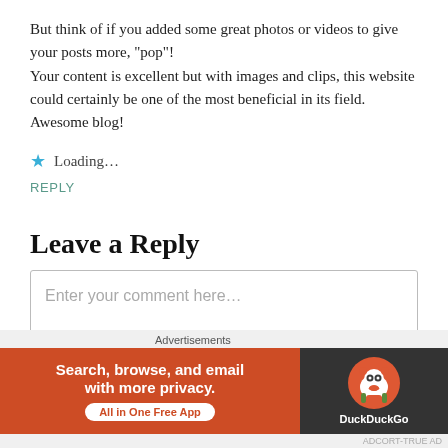But think of if you added some great photos or videos to give your posts more, "pop"!
Your content is excellent but with images and clips, this website could certainly be one of the most beneficial in its field. Awesome blog!
★  Loading...
REPLY
Leave a Reply
Enter your comment here...
[Figure (infographic): DuckDuckGo advertisement banner: 'Search, browse, and email with more privacy. All in One Free App' on orange background with DuckDuckGo logo on dark background.]